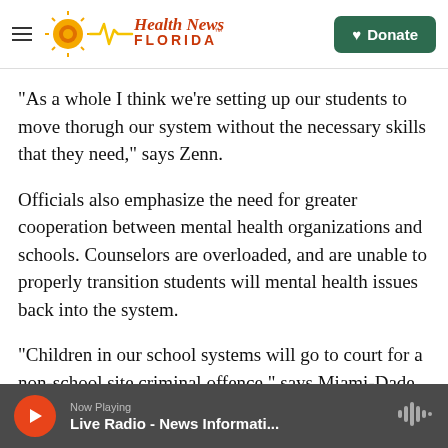Health News Florida — Donate
“As a whole I think we’re setting up our students to move thorugh our system without the necessary skills that they need,” says Zenn.
Officials also emphasize the need for greater cooperation between mental health organizations and schools. Counselors are overloaded, and are unable to properly transition students will mental health issues back into the system.
“Children in our school systems will go to court for a non-school site criminal offence,” says Miami-Dade Superintendent Alberto Carvalho. “The judge
Now Playing — Live Radio - News Informati...